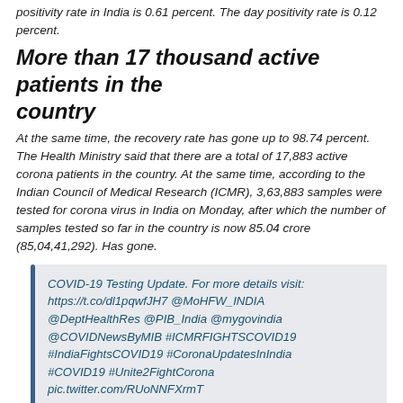positivity rate in India is 0.61 percent. The day positivity rate is 0.12 percent.
More than 17 thousand active patients in the country
At the same time, the recovery rate has gone up to 98.74 percent. The Health Ministry said that there are a total of 17,883 active corona patients in the country. At the same time, according to the Indian Council of Medical Research (ICMR), 3,63,883 samples were tested for corona virus in India on Monday, after which the number of samples tested so far in the country is now 85.04 crore (85,04,41,292). Has gone.
COVID-19 Testing Update. For more details visit: https://t.co/dl1pqwfJH7 @MoHFW_INDIA @DeptHealthRes @PIB_India @mygovindia @COVIDNewsByMIB #ICMRFIGHTSCOVID19 #IndiaFightsCOVID19 #CoronaUpdatesInIndia #COVID19 #Unite2FightCorona pic.twitter.com/RUoNNFXrmT — ICMR (@ICMRDELHI) May 31, 2022
read this also